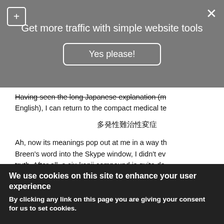[Figure (screenshot): Grey popup banner with plus icon, close X, title 'Get more traffic with simple website tools', and a 'Yes please!' button]
Having seen the long Japanese explanation (m... English), I can return to the compact medical te...
多発性難治性変症
Ah, now its meanings pop out at me in a way th... Breen's word into the Skype window, I didn't ev... truth. After all, a six-kanji compound is quite da... break this long string down as follows:
多発性 (多発性: multiple)
難 (hard)
治 (change)
症 (illness, disease, nature of a disease, sy...
The nature of this disease is that multiple thing... three kanji must form compounds in some way...
We use cookies on this site to enhance your user experience
By clicking any link on this page you are giving your consent for us to set cookies.